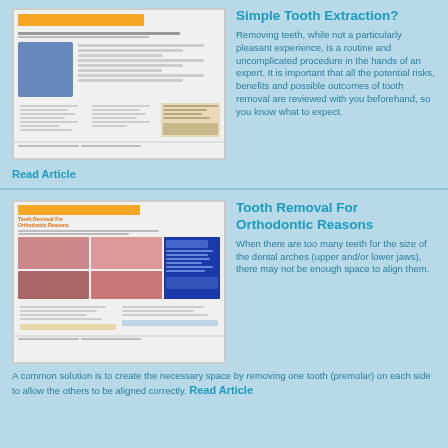[Figure (screenshot): Thumbnail of Simple Tooth Extraction article showing dental imagery and multi-column layout]
Simple Tooth Extraction?
Removing teeth, while not a particularly pleasant experience, is a routine and uncomplicated procedure in the hands of an expert. It is important that all the potential risks, benefits and possible outcomes of tooth removal are reviewed with you beforehand, so you know what to expect.
Read Article
[Figure (screenshot): Thumbnail of Tooth Removal For Orthodontic Reasons article showing dental arch photos and blue sidebar]
Tooth Removal For Orthodontic Reasons
When there are too many teeth for the size of the dental arches (upper and/or lower jaws), there may not be enough space to align them. A common solution is to create the necessary space by removing one tooth (premolar) on each side to allow the others to be aligned correctly.
Read Article